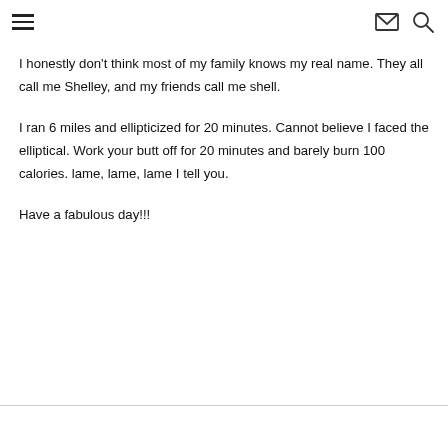≡  ✉ 🔍
I honestly don't think most of my family knows my real name. They all call me Shelley, and my friends call me shell.
I ran 6 miles and ellipticized for 20 minutes. Cannot believe I faced the elliptical. Work your butt off for 20 minutes and barely burn 100 calories. lame, lame, lame I tell you.
Have a fabulous day!!!